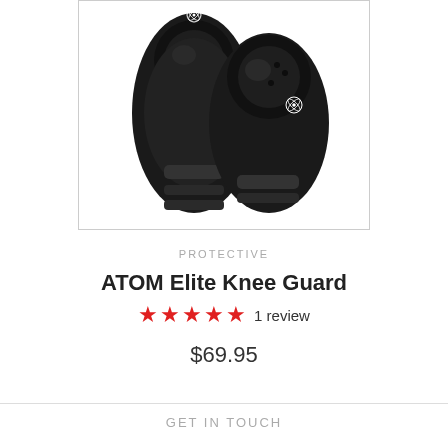[Figure (photo): Two black ATOM Elite Knee Guards shown from above against a white background, with visible logo and ventilation holes on the hard cap shell.]
PROTECTIVE
ATOM Elite Knee Guard
★★★★★ 1 review
$69.95
GET IN TOUCH